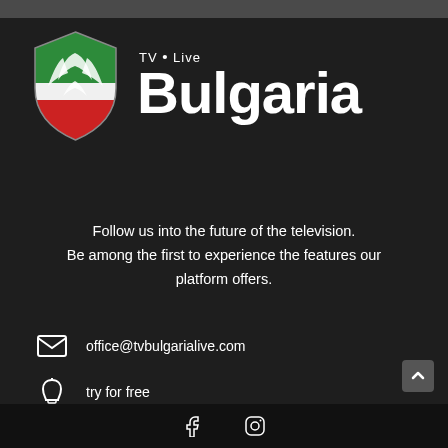[Figure (logo): Bulgaria TV Live logo — shield with green and red eagle design, white text 'Bulgaria' with 'TV • Live' above]
Follow us into the future of the television.
Be among the first to experience the features our platform offers.
office@tvbulgarialive.com
try for free